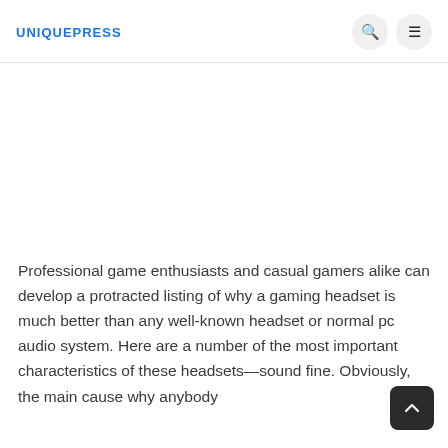UNIQUEPRESS
Professional game enthusiasts and casual gamers alike can develop a protracted listing of why a gaming headset is much better than any well-known headset or normal pc audio system. Here are a number of the most important characteristics of these headsets—sound fine. Obviously, the main cause why anybody